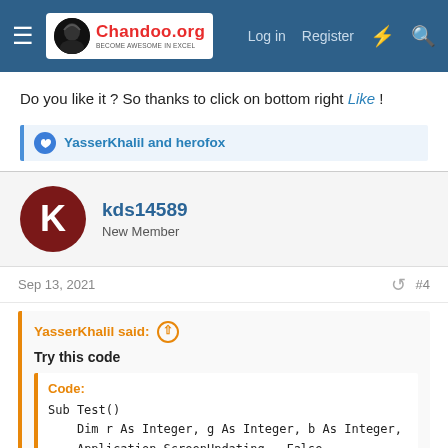Chandoo.org | Log in | Register
Do you like it ? So thanks to click on bottom right Like !
YasserKhalil and herofox
kds14589
New Member
Sep 13, 2021  #4
YasserKhalil said:
Try this code
Code:
Sub Test()
    Dim r As Integer, g As Integer, b As Integer,
    Application.ScreenUpdating = False